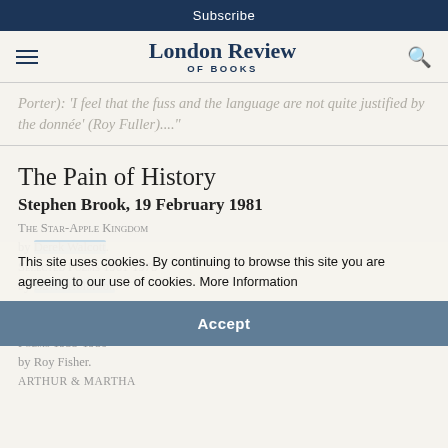Subscribe
London Review of Books
Porter): 'I feel that the fuss and the language are not quite justified by the donnée' (Roy Fuller)...."
The Pain of History
Stephen Brook, 19 February 1981
The Star-Apple Kingdom by Derek Walcott.
Selected Poems 1961-1978 by David Holbrook.
Death Valley and Other Poems in America by Alan Ross.
Poems 1955-1980 by Roy Fisher.
Arthur & Martha
This site uses cookies. By continuing to browse this site you are agreeing to our use of cookies. More Information
Accept